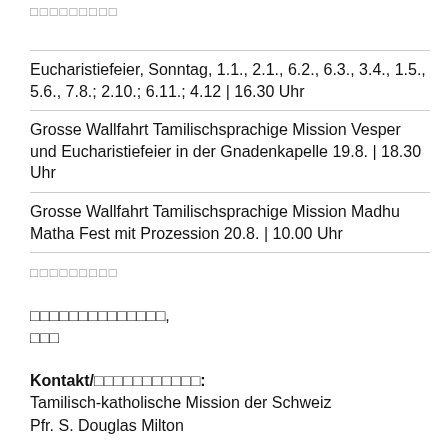□□□□□□□□□
| Eucharistiefeier, Sonntag, 1.1., 2.1., 6.2., 6.3., 3.4., 1.5., 5.6., 7.8.; 2.10.; 6.11.; 4.12 | 16.30 Uhr |
| Grosse Wallfahrt Tamilischsprachige Mission Vesper und Eucharistiefeier in der Gnadenkapelle 19.8. | 18.30 Uhr |
| Grosse Wallfahrt Tamilischsprachige Mission Madhu Matha Fest mit Prozession 20.8. | 10.00 Uhr |
□□□□□□□□□
□□□□□□□□□□□□□□,
□□□
Kontakt/□□□□□□□□□□□:
Tamilisch-katholische Mission der Schweiz
Pfr. S. Douglas Milton